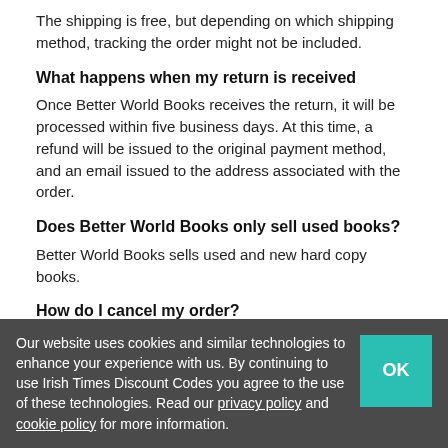The shipping is free, but depending on which shipping method, tracking the order might not be included.
What happens when my return is received
Once Better World Books receives the return, it will be processed within five business days. At this time, a refund will be issued to the original payment method, and an email issued to the address associated with the order.
Does Better World Books only sell used books?
Better World Books sells used and new hard copy books.
How do I cancel my order?
Please submit a request right away, and Better World Books will do everything they can to cancel the order before it ships. If they cannot cancel the order in time
Our website uses cookies and similar technologies to enhance your experience with us. By continuing to use Irish Times Discount Codes you agree to the use of these technologies. Read our privacy policy and cookie policy for more information.